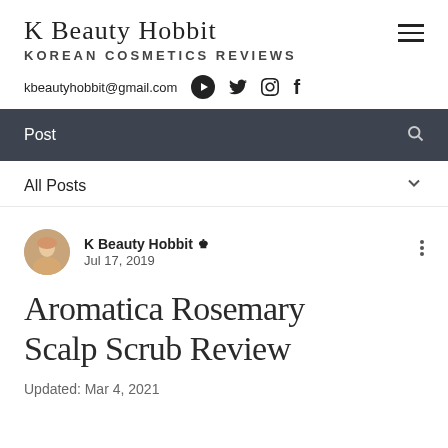K Beauty Hobbit — KOREAN COSMETICS REVIEWS
kbeautyhobbit@gmail.com
Post
All Posts
K Beauty Hobbit  Admin
Jul 17, 2019
Aromatica Rosemary Scalp Scrub Review
Updated: Mar 4, 2021